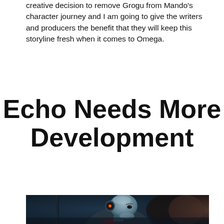creative decision to remove Grogu from Mando's character journey and I am going to give the writers and producers the benefit that they will keep this storyline fresh when it comes to Omega.
Echo Needs More Development
[Figure (photo): Animated character Echo from Star Wars: The Bad Batch — a bald clone trooper with cybernetic implants including a mechanical eye piece with red and yellow lights, wearing dark armour, shown in a three-quarter profile view against a dark background.]